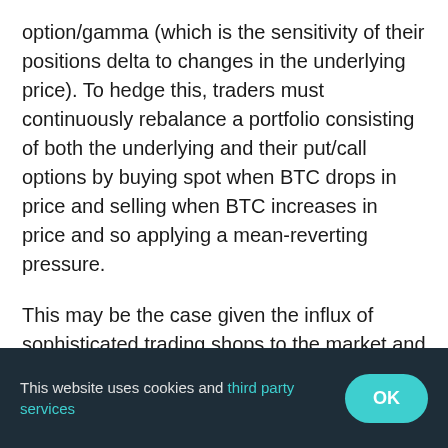option/gamma (which is the sensitivity of their positions delta to changes in the underlying price). To hedge this, traders must continuously rebalance a portfolio consisting of both the underlying and their put/call options by buying spot when BTC drops in price and selling when BTC increases in price and so applying a mean-reverting pressure.
This may be the case given the influx of sophisticated trading shops to the market and the cooling retail interest due to lack of price activity, and would certainly explain the stagnant
This website uses cookies and third party services